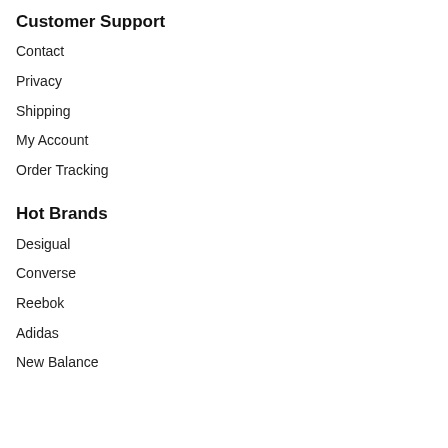Customer Support
Contact
Privacy
Shipping
My Account
Order Tracking
Hot Brands
Desigual
Converse
Reebok
Adidas
New Balance